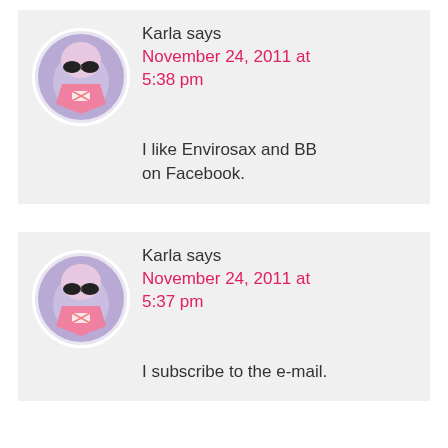Karla says
November 24, 2011 at 5:38 pm
I like Envirosax and BB on Facebook.
Karla says
November 24, 2011 at 5:37 pm
I subscribe to the e-mail.